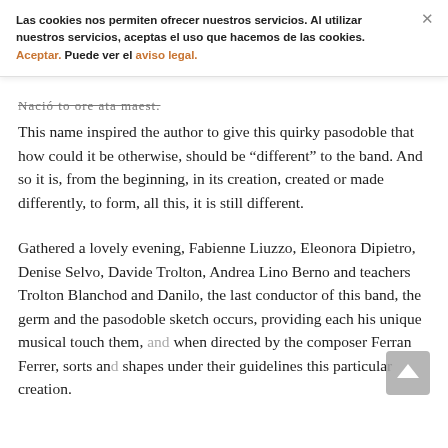Las cookies nos permiten ofrecer nuestros servicios. Al utilizar nuestros servicios, aceptas el uso que hacemos de las cookies. Aceptar. Puede ver el aviso legal.
This name inspired the author to give this quirky pasodoble that how could it be otherwise, should be “different” to the band. And so it is, from the beginning, in its creation, created or made differently, to form, all this, it is still different.
Gathered a lovely evening, Fabienne Liuzzo, Eleonora Dipietro, Denise Selvo, Davide Trolton, Andrea Lino Berno and teachers Trolton Blanchod and Danilo, the last conductor of this band, the germ and the pasodoble sketch occurs, providing each his unique musical touch them, and when directed by the composer Ferran Ferrer, sorts and shapes under their guidelines this particular creation.